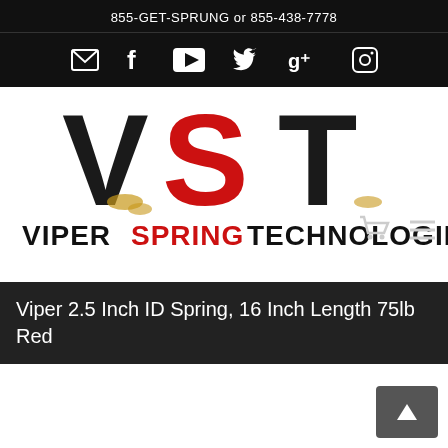855-GET-SPRUNG or 855-438-7778
[Figure (infographic): Social media icon bar with email, Facebook, YouTube, Twitter, Google+, and Instagram icons on black background]
[Figure (logo): Viper Spring Technologies logo with large VST letters and text VIPERSPRING TECHNOLOGIES below]
Viper 2.5 Inch ID Spring, 16 Inch Length 75lb Red